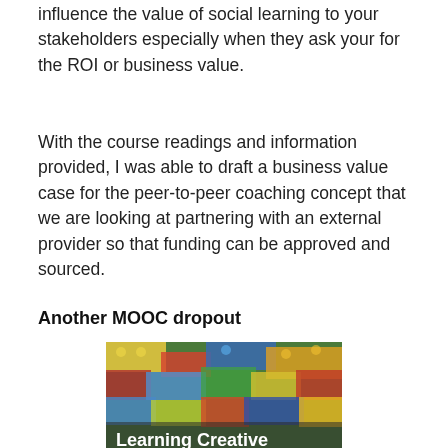influence the value of social learning to your stakeholders especially when they ask your for the ROI or business value.
With the course readings and information provided, I was able to draft a business value  case for the peer-to-peer coaching concept that we are looking at partnering with an external provider so that funding can be approved and sourced.
Another MOOC dropout
[Figure (photo): Image showing colorful LEGO bricks with text overlay reading 'Learning Creative Learning' and subtitle 'The community sandbox. Also a place for course updates and news.']